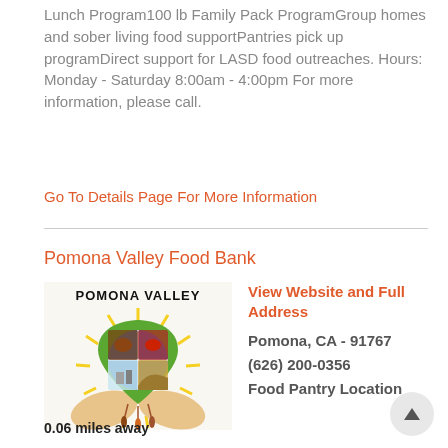Lunch Program100 lb Family Pack ProgramGroup homes and sober living food supportPantries pick up programDirect support for LASD food outreaches. Hours: Monday - Saturday 8:00am - 4:00pm For more information, please call.
Go To Details Page For More Information
Pomona Valley Food Bank
[Figure (logo): Pomona Valley Food Bank logo with a heart shape containing images of animals and landscape, held by two hands, with sunburst rays, and 'Pomona Valley' text at top.]
View Website and Full Address
Pomona, CA - 91767
(626) 200-0356
Food Pantry Location
0.06 miles away